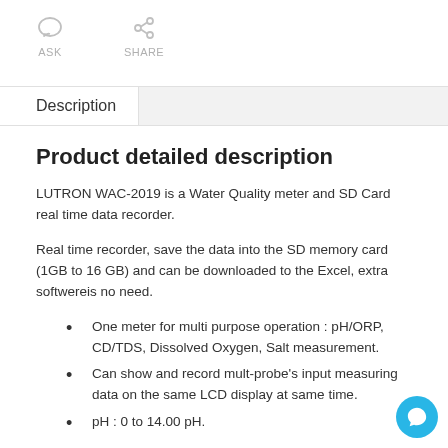[Figure (illustration): ASK icon (speech bubble) and SHARE icon (share/network symbol) with labels below]
Description
Product detailed description
LUTRON WAC-2019 is a Water Quality meter and SD Card real time data recorder.
Real time recorder, save the data into the SD memory card (1GB to 16 GB) and can be downloaded to the Excel, extra softwereis no need.
One meter for multi purpose operation : pH/ORP, CD/TDS, Dissolved Oxygen, Salt measurement.
Can show and record mult-probe's input measuring data on the same LCD display at same time.
pH : 0 to 14.00 pH.